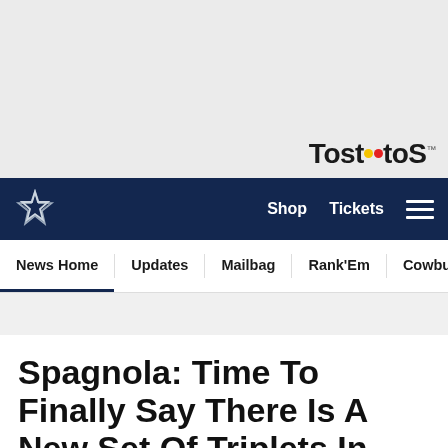[Figure (logo): Tostitos logo in top-right of ad banner area]
Shop  Tickets  ☰
News Home  Updates  Mailbag  Rank'Em  Cowbuzz  Past/Pres
Spagnola: Time To Finally Say There Is A New Set Of Triplets In T…
[Figure (infographic): Social sharing icons: Facebook, Twitter, Email, Link/share]